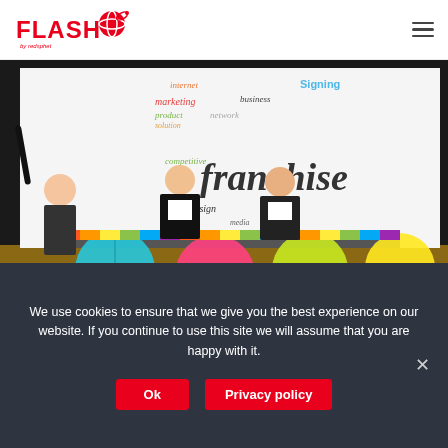FLASH by redsphet — navigation header with logo and hamburger menu
[Figure (photo): Two men in dark suits sitting at a table decorated with colorful paper fans and ribbons, signing documents at what appears to be a franchise signing ceremony. A woman in patterned top stands to the left. Behind them is a large screen displaying a word cloud with 'franchise' prominently featured along with words like internet, marketing, business, product, network, competitive, design, strategy, satisfaction. The word 'Signing' appears in blue text on the screen.]
We use cookies to ensure that we give you the best experience on our website. If you continue to use this site we will assume that you are happy with it.
Ok
Privacy policy